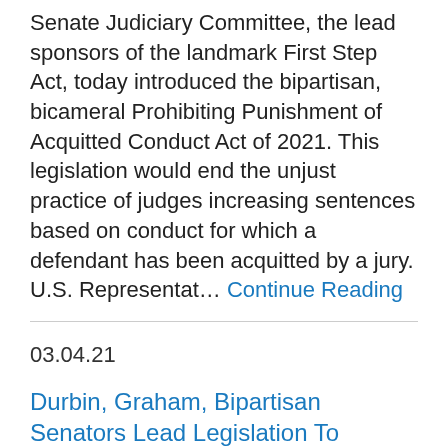Senate Judiciary Committee, the lead sponsors of the landmark First Step Act, today introduced the bipartisan, bicameral Prohibiting Punishment of Acquitted Conduct Act of 2021. This legislation would end the unjust practice of judges increasing sentences based on conduct for which a defendant has been acquitted by a jury. U.S. Representat… Continue Reading
03.04.21
Durbin, Graham, Bipartisan Senators Lead Legislation To Strengthen The Victims Of Crime Act
WASHINGTON – U.S. Senate Majority Whip...